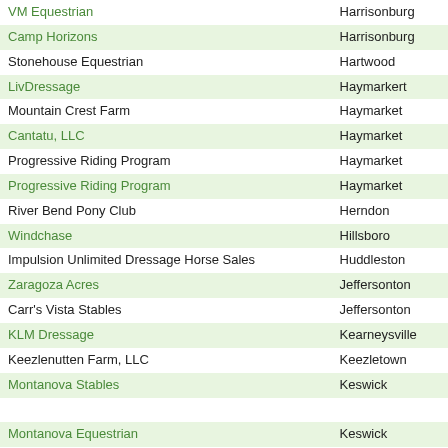| Organization | City |
| --- | --- |
| VM Equestrian | Harrisonburg |
| Camp Horizons | Harrisonburg |
| Stonehouse Equestrian | Hartwood |
| LivDressage | Haymarkert |
| Mountain Crest Farm | Haymarket |
| Cantatu, LLC | Haymarket |
| Progressive Riding Program | Haymarket |
| Progressive Riding Program | Haymarket |
| River Bend Pony Club | Herndon |
| Windchase | Hillsboro |
| Impulsion Unlimited Dressage Horse Sales | Huddleston |
| Zaragoza Acres | Jeffersonton |
| Carr's Vista Stables | Jeffersonton |
| KLM Dressage | Kearneysville |
| Keezlenutten Farm, LLC | Keezletown |
| Montanova Stables | Keswick |
| Montanova Equestrian | Keswick |
| The Pony Cafe | Keswick |
| Montanova Stables | Keswick |
| Cameron Hill LLC | Keswick |
| Old Mountain Eventing & Dressage | Keswick |
| Meadow View Farm | King George |
| Total Equine Veterinary Associates (Drs Jay Joyce and Sallie Hyman) | Leesburg |
| Cantatu, LLC | Leesburg |
| Clairvaux LLC | Leesburg |
| Maintree Farm | Leesburg |
| Cantatu, LLC | Leesburg |
| Whistfulpony Dressage | Leesburg |
| TurtlePond Farm Dressage | Lexington |
| BPC Stables | Lexington |